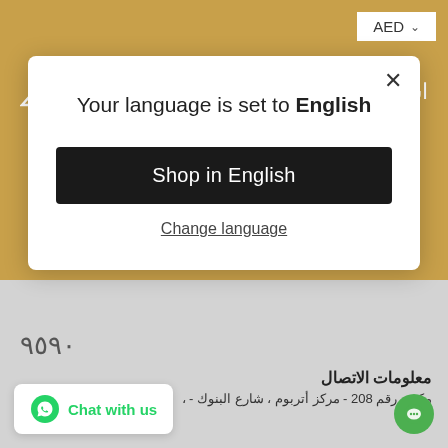AED ∨
اشترك في النشرة الإخبارية
Your language is set to English
Shop in English
Change language
٩٥٩٠
معلومات الاتصال
مكتب رقم 208 - مركز أتربوم ، شارع البنوك - ،
Chat with us